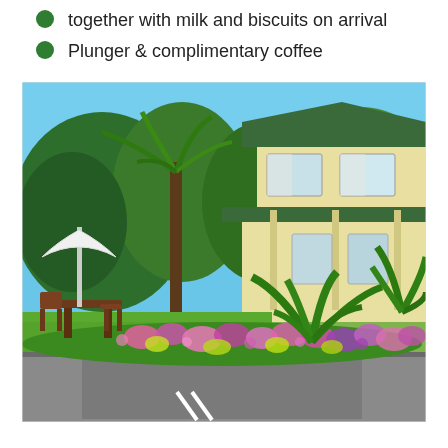together with milk and biscuits on arrival
Plunger & complimentary coffee
[Figure (photo): Exterior photo of a two-storey yellow/cream holiday accommodation house with a dark tiled roof, surrounded by lush tropical gardens including palm trees, colourful flowering plants in the foreground, manicured lawn, and an outdoor dining setting with a white patio umbrella on the left. A paved driveway with parking spaces is visible in the foreground.]